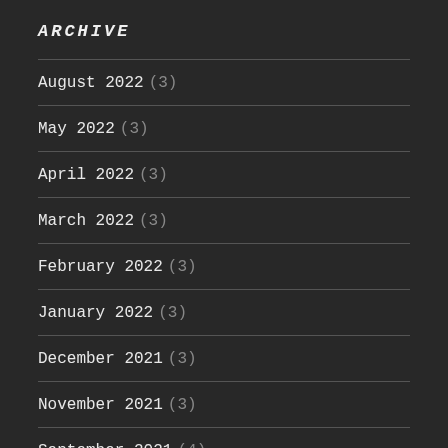ARCHIVE
August 2022 (3)
May 2022 (3)
April 2022 (3)
March 2022 (3)
February 2022 (3)
January 2022 (3)
December 2021 (3)
November 2021 (3)
September 2021 (4)
August 2021 (5)